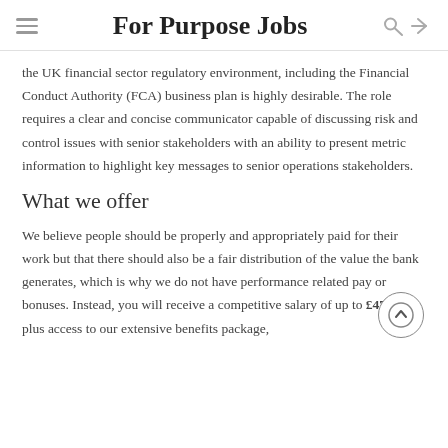For Purpose Jobs
the UK financial sector regulatory environment, including the Financial Conduct Authority (FCA) business plan is highly desirable. The role requires a clear and concise communicator capable of discussing risk and control issues with senior stakeholders with an ability to present metric information to highlight key messages to senior operations stakeholders.
What we offer
We believe people should be properly and appropriately paid for their work but that there should also be a fair distribution of the value the bank generates, which is why we do not have performance related pay or bonuses. Instead, you will receive a competitive salary of up to £47,000 plus access to our extensive benefits package,